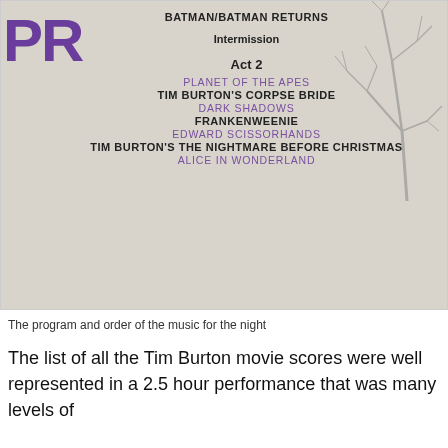[Figure (photo): A concert program booklet page showing Tim Burton movie scores setlist. Page has a decorative bare tree illustration on the right side and large purple 'PR' letters visible on the left. Program lists Batman/Batman Returns, Intermission, then Act 2 with Planet of the Apes, Tim Burton's Corpse Bride, Dark Shadows, Frankenweenie, Edward Scissorhands, Tim Burton's The Nightmare Before Christmas, Alice in Wonderland.]
The program and order of the music for the night
The list of all the Tim Burton movie scores were well represented in a 2.5 hour performance that was many levels of